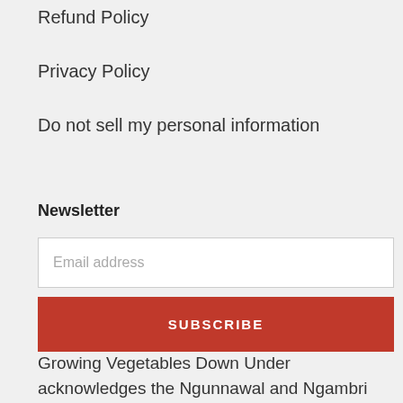Refund Policy
Privacy Policy
Do not sell my personal information
Newsletter
Email address
SUBSCRIBE
Growing Vegetables Down Under acknowledges the Ngunnawal and Ngambri